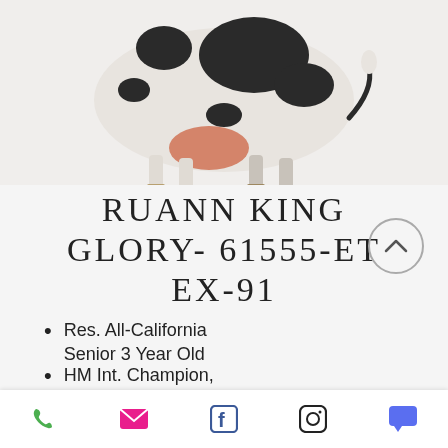[Figure (photo): Holstein dairy cow (black and white pattern) shown in side profile, rear view, on white/light grey background. Udder visible. Legs and tail visible.]
RUANN KING GLORY- 61555-ET EX-91
Res. All-California Senior 3 Year Old
HM Int. Champion, California State Holstein Show
1st California Futurity, 2019
Phone | Email | Facebook | Instagram | Chat